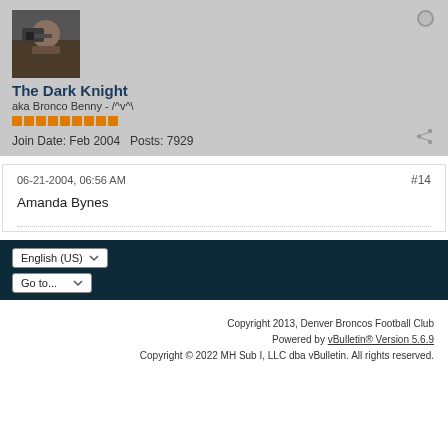[Figure (photo): User avatar photo of a man holding a camera or weapon, dark background]
The Dark Knight
aka Bronco Benny - /^v^\
Join Date: Feb 2004   Posts: 7929
06-21-2004, 06:56 AM
#14
Amanda Bynes
English (US)
Go to...
Copyright 2013, Denver Broncos Football Club
Powered by vBulletin® Version 5.6.9
Copyright © 2022 MH Sub I, LLC dba vBulletin. All rights reserved.